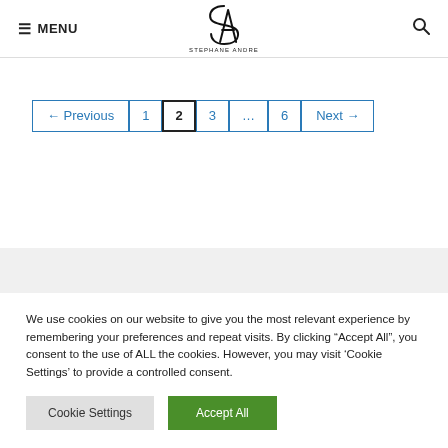≡ MENU  [STEPHANE ANDRE logo]  🔍
← Previous  1  2  3  …  6  Next →
We use cookies on our website to give you the most relevant experience by remembering your preferences and repeat visits. By clicking "Accept All", you consent to the use of ALL the cookies. However, you may visit 'Cookie Settings' to provide a controlled consent.
Cookie Settings   Accept All